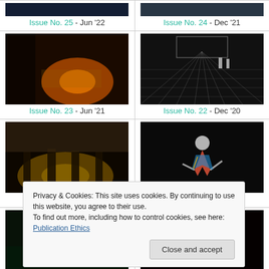[Figure (photo): Partial theater image top left - dark blue tones, Issue No. 25]
Issue No. 25 - Jun '22
[Figure (photo): Partial theater image top right - dark tones, Issue No. 24]
Issue No. 24 - Dec '21
[Figure (photo): Theater interior with fire light, Issue No. 23]
Issue No. 23 - Jun '21
[Figure (photo): Checkerboard floor stage with two figures, Issue No. 22]
Issue No. 22 - Dec '20
[Figure (photo): Performers in misty light, Issue No. 21]
Issue No. 21 - Jun '20
[Figure (photo): Dancer in colorful dress on dark stage, Issue No. 20]
Issue No. 20 - Dec '19
[Figure (photo): Circus performers with hoop, Issue No. 19]
[Figure (photo): Performers under red curtain, Issue No. 18]
Privacy & Cookies: This site uses cookies. By continuing to use this website, you agree to their use. To find out more, including how to control cookies, see here: Publication Ethics
Close and accept
[Figure (photo): Bottom partial image left]
[Figure (photo): Bottom partial image right]